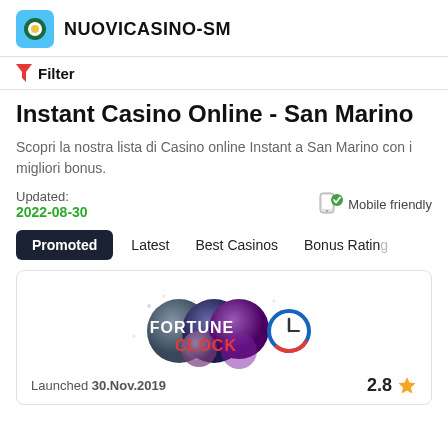NUOVICASINO-SM
Filter
Instant Casino Online - San Marino
Scopri la nostra lista di Casino online Instant a San Marino con i migliori bonus.
Updated: 2022-08-30   Mobile friendly
Promoted
Latest
Best Casinos
Bonus Rating
[Figure (logo): Fortune Clock casino logo with colorful spheres and clock graphic]
Launched 30.Nov.2019   2.8 ★